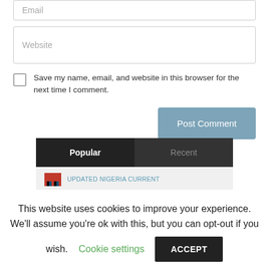Email
Website
Save my name, email, and website in this browser for the next time I comment.
Post Comment
Popular	Recent
UPDATED NIGERIA CURRENT
This website uses cookies to improve your experience. We'll assume you're ok with this, but you can opt-out if you wish. Cookie settings ACCEPT